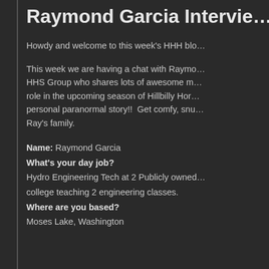Raymond Garcia Intervie…
Howdy and welcome to this week's HHH blo…
This week we are having a chat with Raymo… HHS Group who shares lots of awesome m… role in the upcoming season of Hillbilly Hor… personal paranormal story!!  Get comfy, snu… Ray's family.
Name: Raymond Garcia
What's your day job?
Hydro Engineering Tech at 2 Publicly owned… college teaching 2 engineering classes.
Where are you based?
Moses Lake, Washington